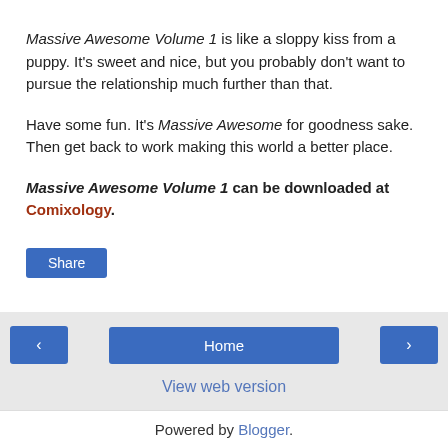Massive Awesome Volume 1 is like a sloppy kiss from a puppy. It's sweet and nice, but you probably don't want to pursue the relationship much further than that.
Have some fun. It's Massive Awesome for goodness sake. Then get back to work making this world a better place.
Massive Awesome Volume 1 can be downloaded at Comixology.
[Figure (other): Share button (blue rounded rectangle)]
[Figure (other): Navigation buttons: left arrow, Home, right arrow]
View web version
Powered by Blogger.